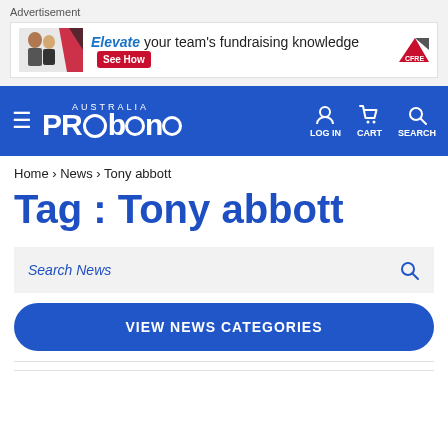[Figure (screenshot): Advertisement banner with photo of people and text: Elevate your team's fundraising knowledge See How, CFRE logo]
PRO bono AUSTRALIA — LOG IN CART SEARCH
Home > News > Tony abbott
Tag : Tony abbott
Search News
VIEW NEWS CATEGORIES